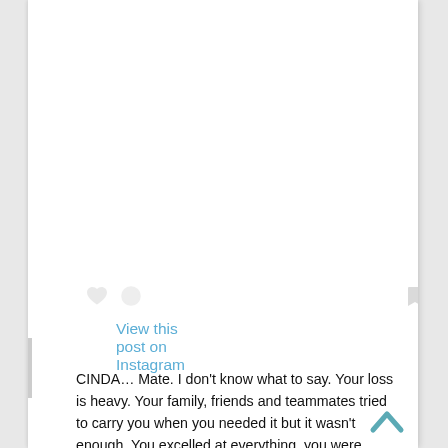View this post on Instagram
[Figure (illustration): Instagram post embed icons: heart, comment bubble, bookmark icons in light gray]
CINDA… Mate. I don't know what to say. Your loss is heavy. Your family, friends and teammates tried to carry you when you needed it but it wasn't enough. You excelled at everything, you were infectious, fiercely competitive, a talented athlete and one of a kind with an